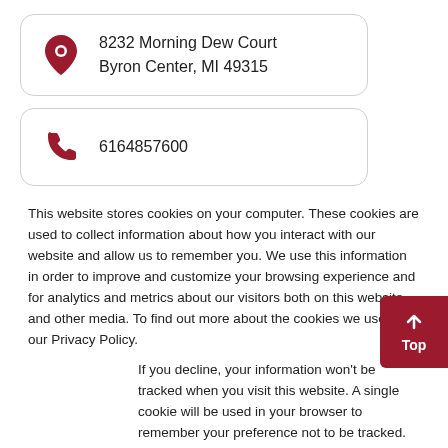8232 Morning Dew Court
Byron Center, MI 49315
6164857600
This website stores cookies on your computer. These cookies are used to collect information about how you interact with our website and allow us to remember you. We use this information in order to improve and customize your browsing experience and for analytics and metrics about our visitors both on this website and other media. To find out more about the cookies we use, see our Privacy Policy.
If you decline, your information won't be tracked when you visit this website. A single cookie will be used in your browser to remember your preference not to be tracked.
Accept
Decline